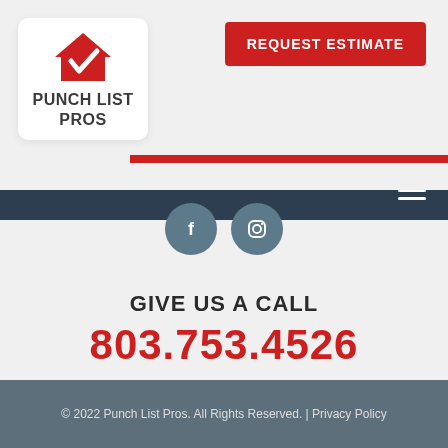[Figure (logo): Punch List Pros logo with red house/checkmark icon and bold text PUNCH LIST PROS]
REQUEST ESTIMATE
[Figure (infographic): Facebook and Instagram social media icon circles in dark teal/slate color]
GIVE US A CALL
803.753.4526
1049 2nd Ave. | Columbia, SC 29209
© 2022 Punch List Pros. All Rights Reserved. | Privacy Policy